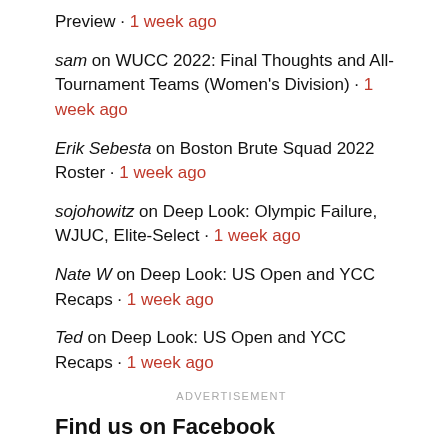Preview · 1 week ago
sam on WUCC 2022: Final Thoughts and All-Tournament Teams (Women's Division) · 1 week ago
Erik Sebesta on Boston Brute Squad 2022 Roster · 1 week ago
sojohowitz on Deep Look: Olympic Failure, WJUC, Elite-Select · 1 week ago
Nate W on Deep Look: US Open and YCC Recaps · 1 week ago
Ted on Deep Look: US Open and YCC Recaps · 1 week ago
ADVERTISEMENT
Find us on Facebook